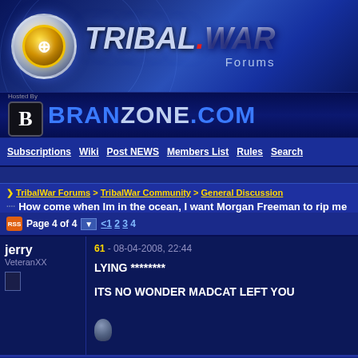[Figure (logo): TribalWar Forums logo with circular emblem and stylized text]
[Figure (logo): BranZone.com hosting banner with B logo]
Subscriptions | Wiki | Post NEWS | Members List | Rules | Search
> TribalWar Forums > TribalWar Community > General Discussion
How come when Im in the ocean, I want Morgan Freeman to rip me
Page 4 of 4  <1 2 3 4
jerry
VeteranXX
61 - 08-04-2008, 22:44
LYING ********

ITS NO WONDER MADCAT LEFT YOU
Sponsored Links